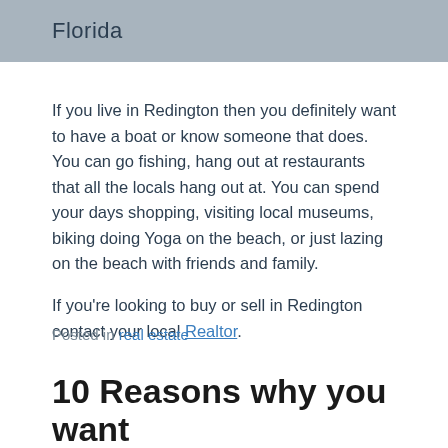Florida
If you live in Redington then you definitely want to have a boat or know someone that does. You can go fishing, hang out at restaurants that all the locals hang out at. You can spend your days shopping, visiting local museums, biking doing Yoga on the beach, or just lazing on the beach with friends and family.
If you're looking to buy or sell in Redington contact your local Realtor.
Posted in real estate
10 Reasons why you want